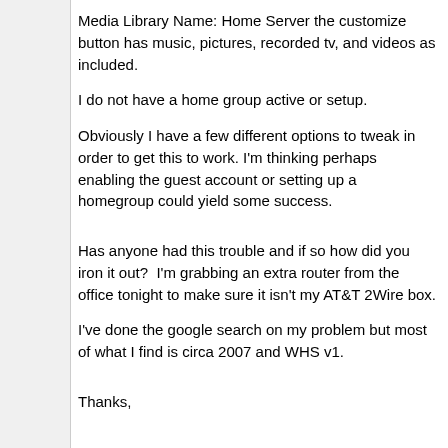Media Library Name: Home Server the customize button has music, pictures, recorded tv, and videos as included.
I do not have a home group active or setup.
Obviously I have a few different options to tweak in order to get this to work. I'm thinking perhaps enabling the guest account or setting up a homegroup could yield some success.
Has anyone had this trouble and if so how did you iron it out?  I'm grabbing an extra router from the office tonight to make sure it isn't my AT&T 2Wire box.
I've done the google search on my problem but most of what I find is circa 2007 and WHS v1.
Thanks,